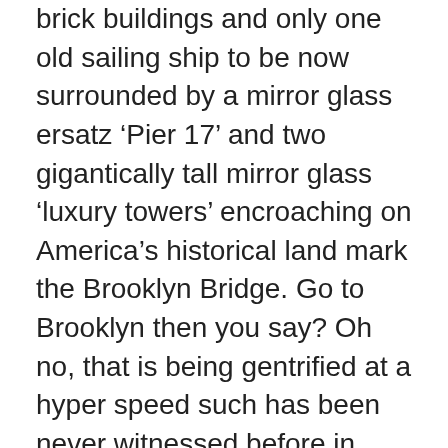brick buildings and only one old sailing ship to be now surrounded by a mirror glass ersatz ‘Pier 17’ and two gigantically tall mirror glass ‘luxury towers’ encroaching on America’s historical land mark the Brooklyn Bridge. Go to Brooklyn then you say? Oh no, that is being gentrified at a hyper speed such has been never witnessed before in America. The foot of the Brooklyn Bridge is now being encased in a towering glass apartment building in DUMBO and the once spectacular view of the bridge from the Brooklyn Heights promenade is now obliterated by a gigantic apartment complex. If anyone would have told me that one day the views of the Brooklyn Bridge will be gone, I’da said you’re nuts. Further in Brooklyn, whites buying $1+ million town homes in Bedford–Stuyvesant is now the norm. What was once our largest African American neighborhood, now has it’s residents being forced to go back to their Southern roots